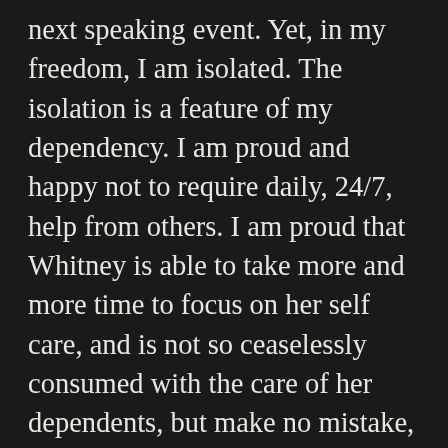next speaking event. Yet, in my freedom, I am isolated. The isolation is a feature of my dependency. I am proud and happy not to require daily, 24/7, help from others. I am proud that Whitney is able to take more and more time to focus on her self care, and is not so ceaselessly consumed with the care of her dependents, but make no mistake, indeed, I am a dependent in this relationship, no longer a marriage on equal footing, but one that tests the limits of “sickness and health.” We are in a marriage tested by our circumstances. Here I write, in the gap between independence and dependency, and